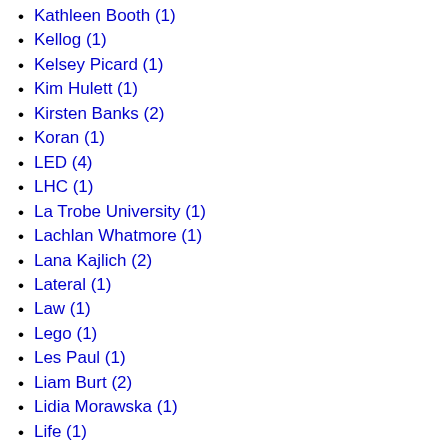Kathleen Booth (1)
Kellog (1)
Kelsey Picard (1)
Kim Hulett (1)
Kirsten Banks (2)
Koran (1)
LED (4)
LHC (1)
La Trobe University (1)
Lachlan Whatmore (1)
Lana Kajlich (2)
Lateral (1)
Law (1)
Lego (1)
Les Paul (1)
Liam Burt (2)
Lidia Morawska (1)
Life (1)
LoVid (1)
Long COVID (1)
Luke Koffey (1)
Luna Letter (1)
ME (7)
ME/CFS (3)
MEMS (2)